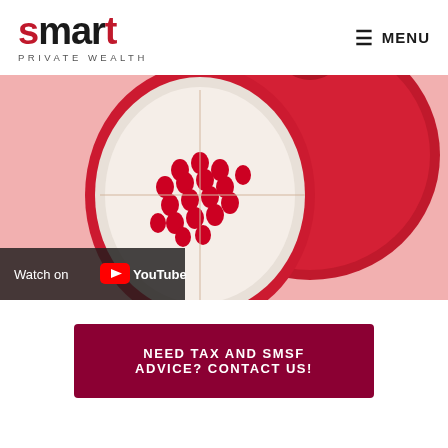smart PRIVATE WEALTH | MENU
[Figure (photo): Close-up photo of a halved pomegranate against a pink background, with a YouTube 'Watch on YouTube' overlay in the lower left corner.]
NEED TAX AND SMSF ADVICE? CONTACT US!